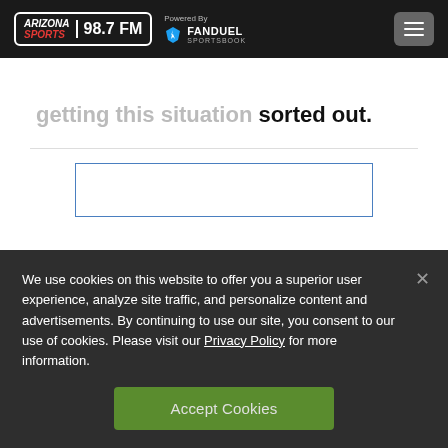Arizona Sports 98.7 FM — Powered By FanDuel Sportsbook
...getting this situation sorted out.
[Figure (other): Advertisement placeholder box with blue border]
We use cookies on this website to offer you a superior user experience, analyze site traffic, and personalize content and advertisements. By continuing to use our site, you consent to our use of cookies. Please visit our Privacy Policy for more information.
Accept Cookies